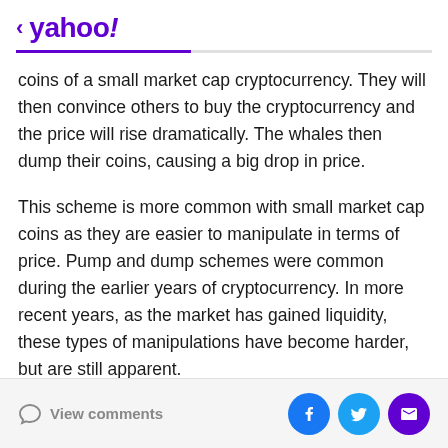< yahoo!
coins of a small market cap cryptocurrency. They will then convince others to buy the cryptocurrency and the price will rise dramatically. The whales then dump their coins, causing a big drop in price.
This scheme is more common with small market cap coins as they are easier to manipulate in terms of price. Pump and dump schemes were common during the earlier years of cryptocurrency. In more recent years, as the market has gained liquidity, these types of manipulations have become harder, but are still apparent.
View comments